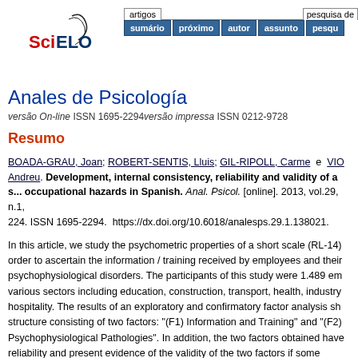[Figure (logo): SciELO logo with navigation bar showing artigos and pesquisa de tabs with buttons: sumário, próximo, autor, assunto, pesqu]
Anales de Psicología
versão On-line ISSN 1695-2294versão impressa ISSN 0212-9728
Resumo
BOADA-GRAU, Joan; ROBERT-SENTIS, Lluis; GIL-RIPOLL, Carme e VIC... Andreu. Development, internal consistency, reliability and validity of a s... occupational hazards in Spanish. Anal. Psicol. [online]. 2013, vol.29, n.1, 224. ISSN 1695-2294.  https://dx.doi.org/10.6018/analesps.29.1.138021.
In this article, we study the psychometric properties of a short scale (RL-14) order to ascertain the information / training received by employees and their psychophysiological disorders. The participants of this study were 1.489 em various sectors including education, construction, transport, health, industry hospitality. The results of an exploratory and confirmatory factor analysis sh structure consisting of two factors: "(F1) Information and Training" and "(F2) Psychophysiological Pathologies". In addition, the two factors obtained have reliability and present evidence of the validity of the two factors if some